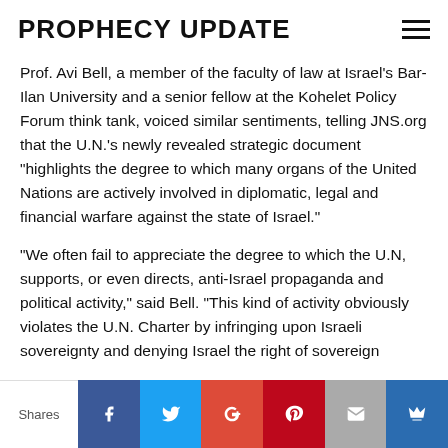PROPHECY UPDATE
Prof. Avi Bell, a member of the faculty of law at Israel's Bar-Ilan University and a senior fellow at the Kohelet Policy Forum think tank, voiced similar sentiments, telling JNS.org that the U.N.'s newly revealed strategic document "highlights the degree to which many organs of the United Nations are actively involved in diplomatic, legal and financial warfare against the state of Israel."
"We often fail to appreciate the degree to which the U.N, supports, or even directs, anti-Israel propaganda and political activity," said Bell. "This kind of activity obviously violates the U.N. Charter by infringing upon Israeli sovereignty and denying Israel the right of sovereign…
Shares | Facebook | Twitter | Google+ | Pinterest | Email | Crown